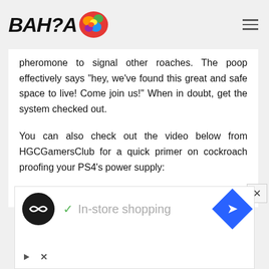BAHIA [logo with colorful paint splatter]
pheromone to signal other roaches. The poop effectively says "hey, we've found this great and safe space to live! Come join us!" When in doubt, get the system checked out.
You can also check out the video below from HGCGamersClub for a quick primer on cockroach proofing your PS4's power supply:
Via Kotaku
[Figure (screenshot): Advertisement banner with circular logo, checkmark, 'In-store shopping' text, blue diamond navigation icon, and close/skip controls]